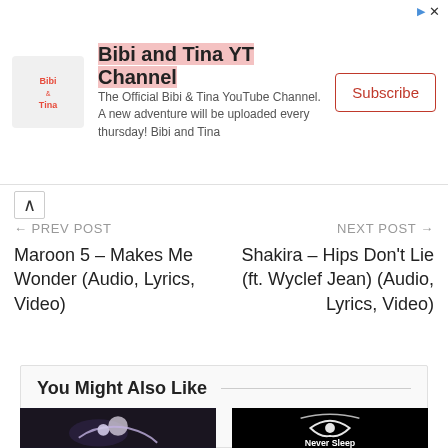[Figure (infographic): Bibi and Tina advertisement banner with logo, channel description, and Subscribe button]
← PREV POST
NEXT POST →
Maroon 5 – Makes Me Wonder (Audio, Lyrics, Video)
Shakira – Hips Don't Lie (ft. Wyclef Jean) (Audio, Lyrics, Video)
You Might Also Like
[Figure (photo): Music video thumbnail showing a glowing horse and figure]
[Figure (photo): Dark background with white swirl eye graphic and text Never Sleep]